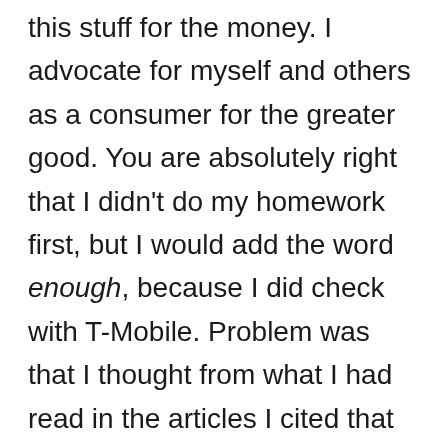this stuff for the money. I advocate for myself and others as a consumer for the greater good. You are absolutely right that I didn't do my homework first, but I would add the word enough, because I did check with T-Mobile. Problem was that I thought from what I had read in the articles I cited that Google Voice was a VoIP app based on the fact that it is VoIP for people using GV on computers and the GV text messaging on phones goes over the Internet rather than though the regular cell phone voice & text service (thus saving you money because it doesn't count